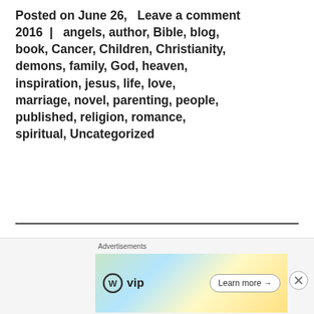Posted on June 26, Leave a comment 2016 | angels, author, Bible, blog, book, Cancer, Children, Christianity, demons, family, God, heaven, inspiration, jesus, life, love, marriage, novel, parenting, people, published, religion, romance, spiritual, Uncategorized
Spiritual Flesh and
[Figure (other): Advertisement bar with WordPress VIP logo and 'Learn more' button]